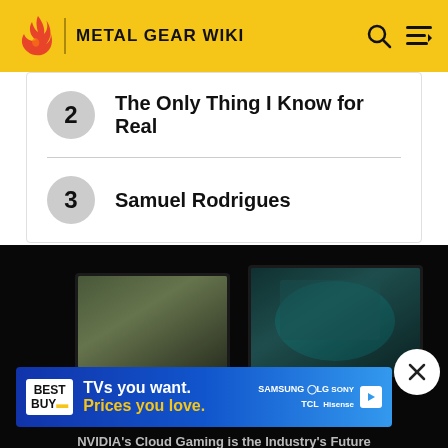METAL GEAR WIKI
2  The Only Thing I Know for Real
3  Samuel Rodrigues
[Figure (screenshot): Dark video player showing two gaming monitors displaying game footage. An advertisement overlay from Best Buy reads 'TVs you want. Prices you love.' with Samsung, LG, Sony, TCL, Hisense brands listed. A close (X) button appears in the lower right. Caption: NVIDIA's Cloud Gaming is the Industry's Future]
NVIDIA's Cloud Gaming is the Industry's Future